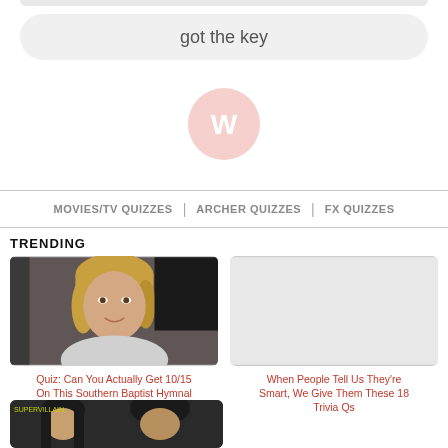got the key
[Figure (logo): W logo circle in pink/salmon color]
MOVIES/TV QUIZZES | ARCHER QUIZZES | FX QUIZZES
TRENDING
[Figure (photo): Photo of a blonde woman smiling]
Quiz: Can You Actually Get 10/15 On This Southern Baptist Hymnal Test?
When People Tell Us They're Smart, We Give Them These 18 Trivia Qs
[Figure (photo): Partial photo of two people, partially cropped at bottom]